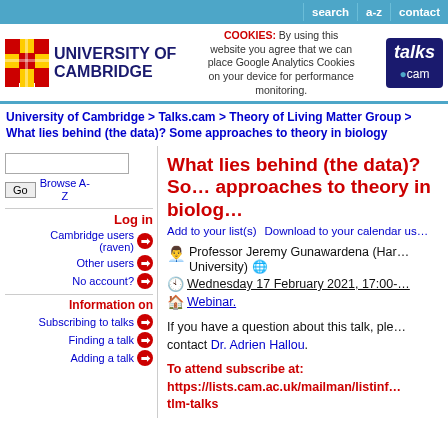search | a-z | contact
[Figure (logo): University of Cambridge logo with shield and text, Talks.cam logo]
COOKIES: By using this website you agree that we can place Google Analytics Cookies on your device for performance monitoring.
University of Cambridge > Talks.cam > Theory of Living Matter Group > What lies behind (the data)? Some approaches to theory in biology
What lies behind (the data)? Some approaches to theory in biology
Add to your list(s)    Download to your calendar us
Log in
Cambridge users (raven) →
Other users →
No account? →
Information on
Subscribing to talks →
Finding a talk →
Adding a talk →
Professor Jeremy Gunawardena (Harvard University)
Wednesday 17 February 2021, 17:00-
Webinar.
If you have a question about this talk, please contact Dr. Adrien Hallou.
To attend subscribe at: https://lists.cam.ac.uk/mailman/listinfo/tlm-talks